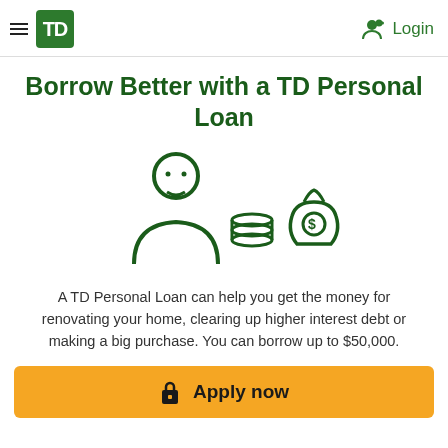TD — Login
Borrow Better with a TD Personal Loan
[Figure (illustration): Icon of a person with stacked coins and a money bag, drawn in dark green outline style]
A TD Personal Loan can help you get the money for renovating your home, clearing up higher interest debt or making a big purchase. You can borrow up to $50,000.
Apply now